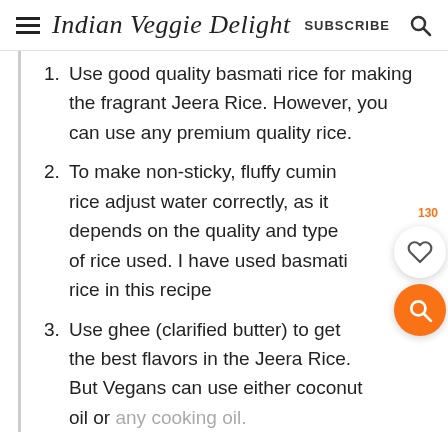Indian Veggie Delight  SUBSCRIBE
Use good quality basmati rice for making the fragrant Jeera Rice. However, you can use any premium quality rice.
To make non-sticky, fluffy cumin rice adjust water correctly, as it depends on the quality and type of rice used. I have used basmati rice in this recipe
Use ghee (clarified butter) to get the best flavors in the Jeera Rice. But Vegans can use either coconut oil or any cooking oil.